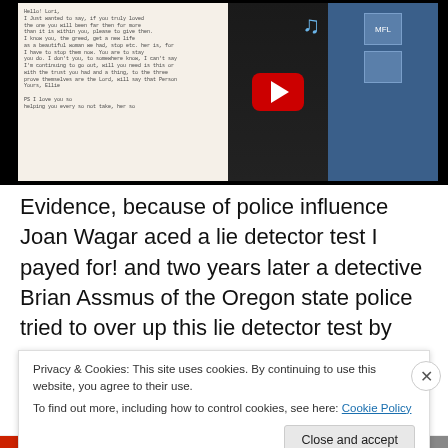[Figure (screenshot): Screenshot of a webpage showing a handwritten letter on the left, a YouTube player in the middle with a music note icon, and text overlay on the right reading 'cop e ! nit it is her the w what the nd only THEN letter and SE NICKNAMES!' with a desktop/taskbar on the far right.]
Evidence, because of police influence Joan Wagar aced a lie detector test I payed for! and two years later a detective Brian Assmus of the Oregon state police tried to over up this lie detector test by stealing the page signed by the
Privacy & Cookies: This site uses cookies. By continuing to use this website, you agree to their use.
To find out more, including how to control cookies, see here: Cookie Policy
Close and accept